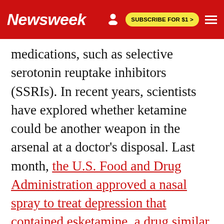Newsweek | SUBSCRIBE FOR $1 >
medications, such as selective serotonin reuptake inhibitors (SSRIs). In recent years, scientists have explored whether ketamine could be another weapon in the arsenal at a doctor's disposal. Last month, the U.S. Food and Drug Administration approved a nasal spray to treat depression that contained esketamine, a drug similar to ketamine.